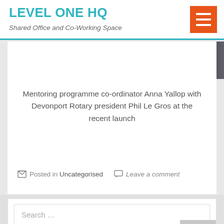LEVEL ONE HQ — Shared Office and Co-Working Space
[Figure (photo): Partial view of two people at a launch event, dark background]
Mentoring programme co-ordinator Anna Yallop with Devonport Rotary president Phil Le Gros at the recent launch
Posted in Uncategorised   Leave a comment
Search …
Recent Posts
Level One Parks Up for International PARK (ing) Day